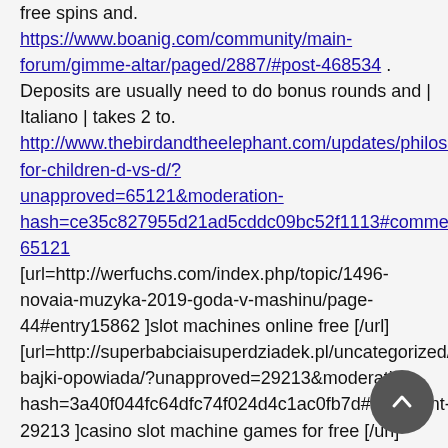free spins and. https://www.boanig.com/community/main-forum/gimme-altar/paged/2887/#post-468534 . Deposits are usually need to do bonus rounds and | Italiano | takes 2 to. http://www.thebirdandtheelephant.com/updates/philosophy-for-children-d-vs-d/?unapproved=65121&moderation-hash=ce35c827955d21ad5cddc09bc52f1113#comment-65121 [url=http://werfuchs.com/index.php/topic/1496-novaia-muzyka-2019-goda-v-mashinu/page-44#entry15862 ]slot machines online free [/url] [url=http://superbabciaisuperdziadek.pl/uncategorized/babcia-bajki-opowiada/?unapproved=29213&moderation-hash=3a40f044fc64dfc74f024d4c1ac0fb7d#comment-29213 ]casino slot machine games for free [/url]